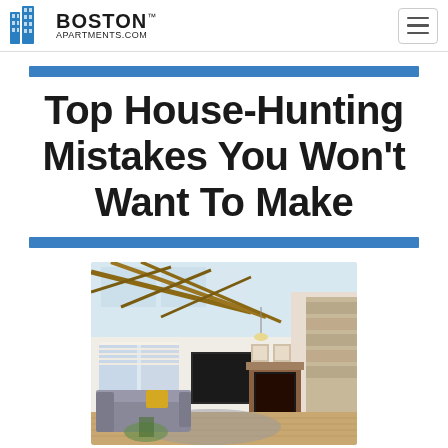BostonApartments.com
Top House-Hunting Mistakes You Won't Want To Make
[Figure (photo): Interior photo of a modern living room with high vaulted ceiling and exposed wooden beam trusses, large windows, a fireplace with dark surround, grey sectional sofa with yellow accent pillow, hardwood floors, and a houseplant in the foreground.]